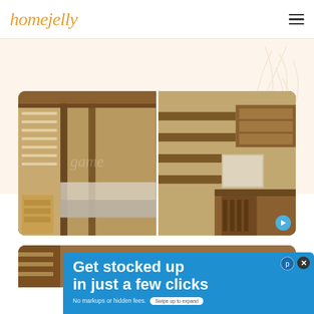homejelly
[Figure (photo): Two side-by-side photos of a rustic wood bunk bed room. Left photo shows a bed area with wooden blinds and a small dresser. Right photo shows a desk area with wooden furniture and a mirror.]
[Figure (photo): Partial view of a second room photo, with an advertisement overlay reading 'Get stocked up in just a few clicks. No markups or hidden fees.' with a Swipe up to expand button.]